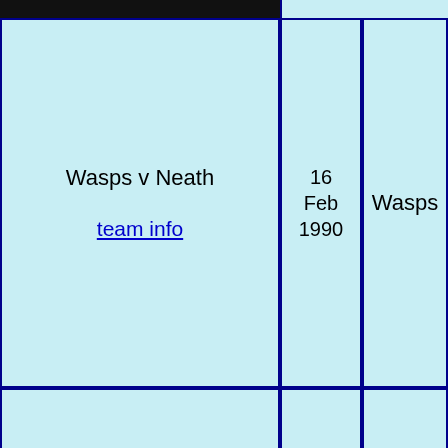| Programme | Match | Date | Venue |
| --- | --- | --- | --- |
| [image] | Wasps v Neath / team info | 16 Feb 1990 | Wasps |
| [image] | Wasps v Neath / team info | 16 Feb 1990 | Wasps |
| [image] | Wasps v Racing Club de France / team info | 2 Sep 1990 | Sudbury |